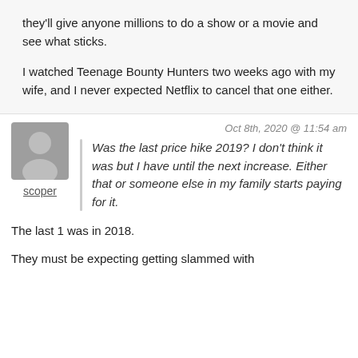they'll give anyone millions to do a show or a movie and see what sticks.
I watched Teenage Bounty Hunters two weeks ago with my wife, and I never expected Netflix to cancel that one either.
Oct 8th, 2020 @ 11:54 am
scoper
Was the last price hike 2019? I don't think it was but I have until the next increase. Either that or someone else in my family starts paying for it.
The last 1 was in 2018.
They must be expecting getting slammed with